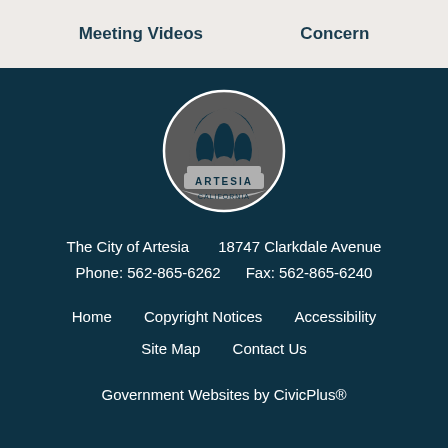Meeting Videos    Concern
[Figure (logo): City of Artesia California seal/logo — circular badge with decorative arch motif in grey and white]
The City of Artesia      18747 Clarkdale Avenue
Phone: 562-865-6262      Fax: 562-865-6240
Home    Copyright Notices    Accessibility
Site Map    Contact Us
Government Websites by CivicPlus®